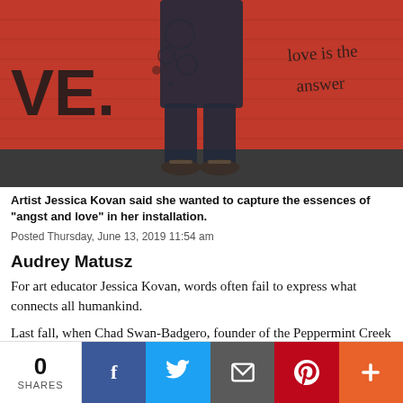[Figure (photo): Person standing in front of a red brick wall with graffiti reading 'love is the answer'. The subject is wearing dark jeans and sandals, cropped at torso level.]
Artist Jessica Kovan said she wanted to capture the essences of "angst and love" in her installation.
Posted Thursday, June 13, 2019 11:54 am
Audrey Matusz
For art educator Jessica Kovan, words often fail to express what connects all humankind.
Last fall, when Chad Swan-Badgero, founder of the Peppermint Creek Theatre Co., asked her to create an exhibit synchronous with its production of “Indec
0 SHARES  [Facebook] [Twitter] [Email] [Pinterest] [More]